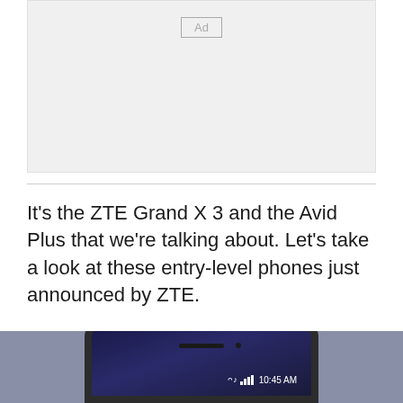[Figure (other): Advertisement placeholder box with 'Ad' label in upper center]
It's the ZTE Grand X 3 and the Avid Plus that we're talking about. Let's take a look at these entry-level phones just announced by ZTE.
[Figure (photo): Photo of a ZTE smartphone showing the top portion of the device with status bar displaying signal bars and time 10:45 AM, against a grey-purple background]